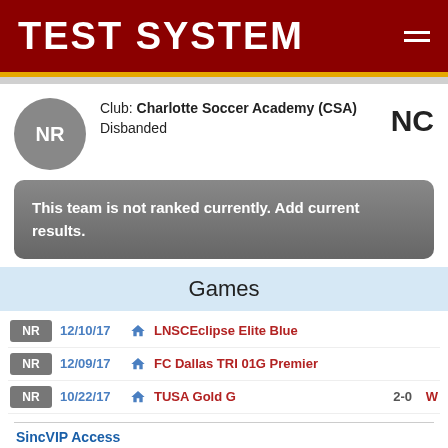TEST SYSTEM
Club: Charlotte Soccer Academy (CSA)
Disbanded
NC
This team is not ranked currently. Add current results.
Games
NR  12/10/17  LNSCEclipse Elite Blue
NR  12/09/17  FC Dallas TRI 01G Premier
NR  10/22/17  TUSA Gold G  2-0  W
SincVIP Access